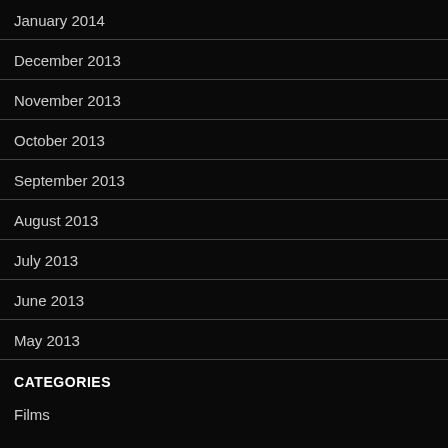January 2014
December 2013
November 2013
October 2013
September 2013
August 2013
July 2013
June 2013
May 2013
CATEGORIES
Films